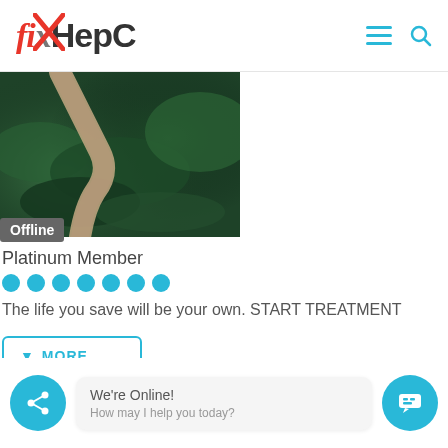[Figure (logo): fixHepC logo with red italic 'fix' and X mark through it, followed by 'HepC' in dark bold sans-serif]
[Figure (photo): Profile photo showing aerial view of a person's arm over green foliage/forest]
Offline
Platinum Member
The life you save will be your own. START TREATMENT
MORE
6 years 2 months ago #17160
beaches replied the topic: GT2 Honks About Generic Sofosbuvir +Daclatasvir (SOF + DCV)
We're Online!
How may I help you today?